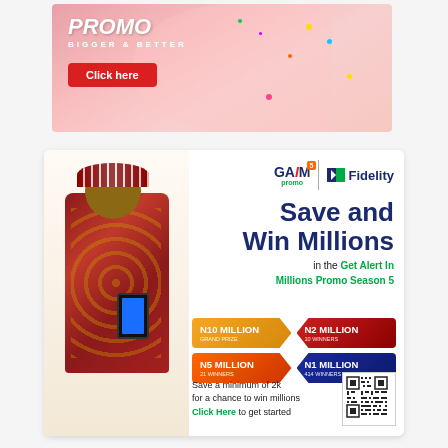[Figure (infographic): Advertisement banner with pink background showing a woman celebrating with confetti and a 'Click here' button. Text says 'BIGGER & BETTER'.]
[Figure (infographic): Fidelity Bank 'Get Alert In Millions Promo Season 5' advertisement. Shows a man in traditional African attire looking at his phone. Prize boxes: N10 MILLION Grand Prize, N2 MILLION 10 Winners, N5 MILLION 21 Winners, N1 MILLION 414 Winners Monthly. Text: Save a minimum of 2k for a chance to win millions. Click Here to get started. QR code shown.]